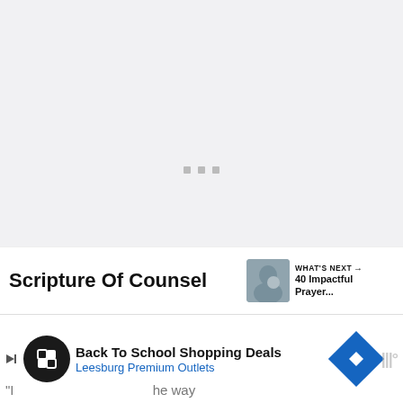[Figure (screenshot): A mostly blank light gray loading/placeholder area with three small gray square dots centered, indicating content is loading.]
[Figure (other): Dark navy circular heart/like button icon]
10
[Figure (other): White circular share button with share icon]
Scripture Of Counsel
[Figure (other): What's Next thumbnail - man with child in arms, small preview image]
WHAT'S NEXT → 40 Impactful Prayer...
[Figure (other): Advertisement banner: Back To School Shopping Deals - Leesburg Premium Outlets with diamond logo icon]
"I ... he way